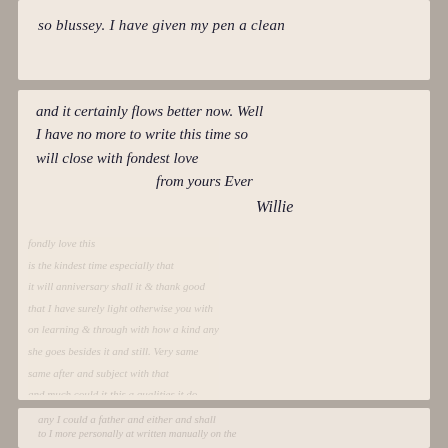[Figure (photo): Scanned handwritten letter page showing three fragments of aged paper. Top fragment shows partial text 'so blussey. I have given my pen a clean'. Main sheet shows handwritten text continuing the letter ending with closing and signature. Bottom fragment shows additional faded handwriting visible through the paper.]
so blussey. I have given my pen a clean
and it certainly flows better now. Well I have no more to write this time so will close with fondest love from yours Ever Willie